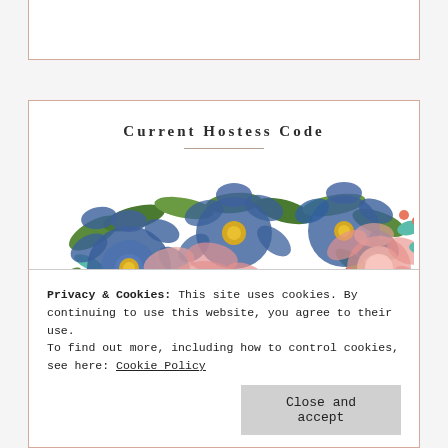[Figure (illustration): Top partial card with pink top bar and border, mostly white interior visible]
Current Hostess Code
[Figure (illustration): Watercolor floral arrangement with blue, pink/coral peonies and green leaves. Text overlay reads 'August Hostess Code' in coral/red italic script.]
Privacy & Cookies: This site uses cookies. By continuing to use this website, you agree to their use.
To find out more, including how to control cookies, see here: Cookie Policy
Close and accept